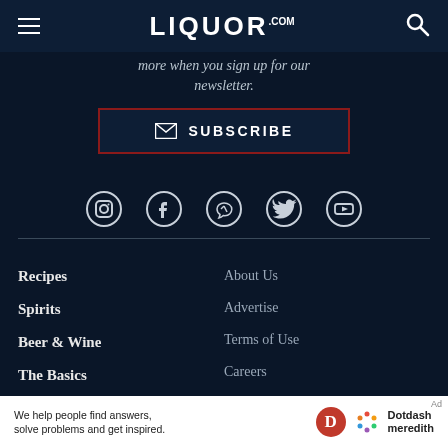LIQUOR.COM
more when you sign up for our newsletter.
SUBSCRIBE
[Figure (infographic): Social media icons row: Instagram, Facebook, Pinterest, Twitter/X, YouTube]
Recipes
Spirits
Beer & Wine
The Basics
About Us
Advertise
Terms of Use
Careers
Editorial Guidelines
We help people find answers, solve problems and get inspired. Dotdash meredith